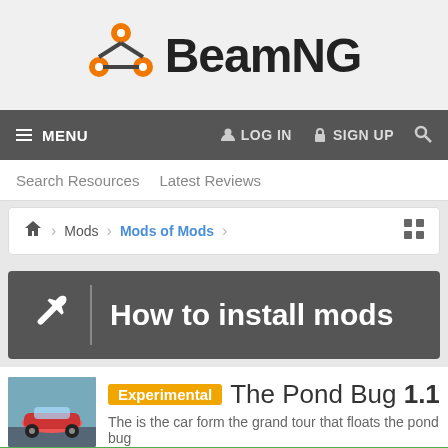[Figure (logo): BeamNG logo with orange node/connector graphic and bold black BeamNG text]
≡ MENU   LOG IN   SIGN UP   🔍
Search Resources   Latest Reviews
🏠  >  Mods  >  Mods of Mods
[Figure (infographic): Dark grey banner with wrench icon and text: How to install mods]
Experimental   The Pond Bug 1.1
The is the car form the grand tour that floats the pond bug
Subscribe